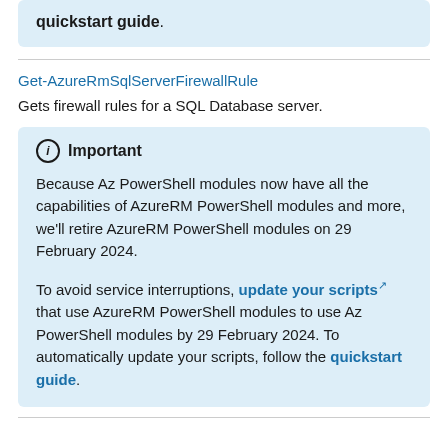quickstart guide.
Get-AzureRmSqlServerFirewallRule
Gets firewall rules for a SQL Database server.
Important
Because Az PowerShell modules now have all the capabilities of AzureRM PowerShell modules and more, we'll retire AzureRM PowerShell modules on 29 February 2024.
To avoid service interruptions, update your scripts that use AzureRM PowerShell modules to use Az PowerShell modules by 29 February 2024. To automatically update your scripts, follow the quickstart guide.